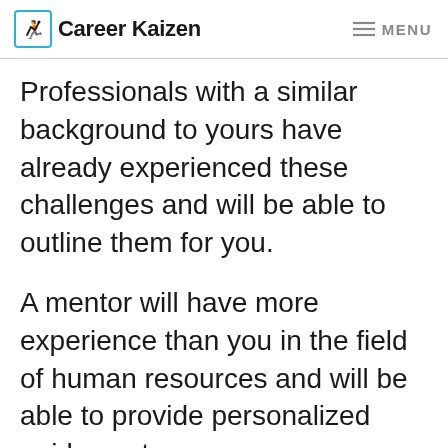Career Kaizen  MENU
Professionals with a similar background to yours have already experienced these challenges and will be able to outline them for you.
A mentor will have more experience than you in the field of human resources and will be able to provide personalized guidance to you.
They can share insight on the best